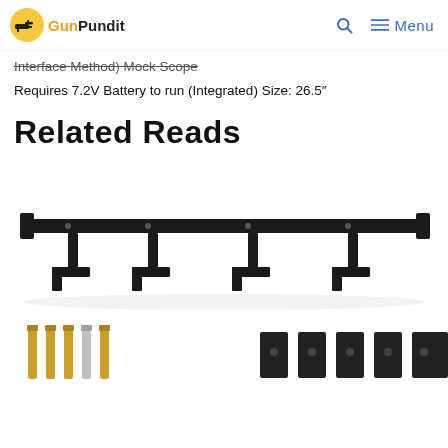GunPundit | Search | Menu
Interface Method) Mock Scope
Requires 7.2V Battery to run (Integrated) Size: 26.5"
Related Reads
[Figure (photo): A black metal gun rack/wall mount with multiple hooks and arms, shown with accessory parts including brass/gold pins and black mounting plates below]